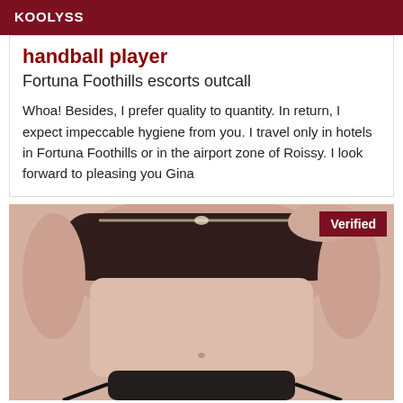KOOLYSS
handball player
Fortuna Foothills escorts outcall
Whoa! Besides, I prefer quality to quantity. In return, I expect impeccable hygiene from you. I travel only in hotels in Fortuna Foothills or in the airport zone of Roissy. I look forward to pleasing you Gina
[Figure (photo): Close-up photo of a person's torso wearing dark lace lingerie top and dark bottom garment, with a 'Verified' badge in the top right corner]